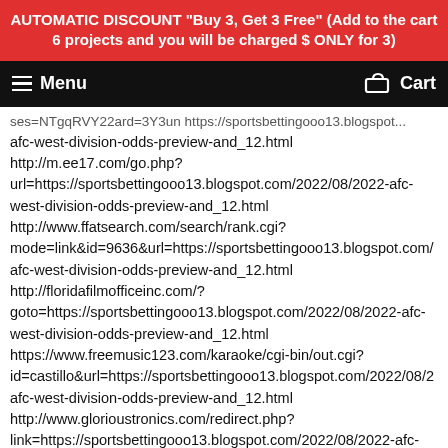AUTOMATIC DISCOUNT "Buy 3, Get 3 Free" (Add to the cart 6 projects and you will be charged $ ONLY for 3)
Menu   Cart
ses=NTgqRVY22ard=3Y3un https://sportsbettingooo13.blogspot... afc-west-division-odds-preview-and_12.html http://m.ee17.com/go.php?url=https://sportsbettingooo13.blogspot.com/2022/08/2022-afc-west-division-odds-preview-and_12.html http://www.ffatsearch.com/search/rank.cgi?mode=link&id=9636&url=https://sportsbettingooo13.blogspot.com/afc-west-division-odds-preview-and_12.html http://floridafilmofficeinc.com/?goto=https://sportsbettingooo13.blogspot.com/2022/08/2022-afc-west-division-odds-preview-and_12.html https://www.freemusic123.com/karaoke/cgi-bin/out.cgi?id=castillo&url=https://sportsbettingooo13.blogspot.com/2022/08/2022-afc-west-division-odds-preview-and_12.html http://www.glorioustronics.com/redirect.php?link=https://sportsbettingooo13.blogspot.com/2022/08/2022-afc-west-division-odds-preview-and_12.html http://ballsteinweg.de/redirect/google_redirect.